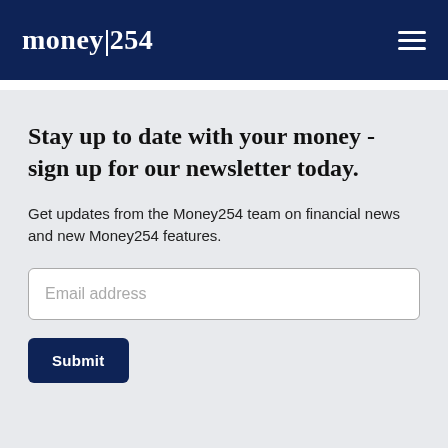money|254
Stay up to date with your money - sign up for our newsletter today.
Get updates from the Money254 team on financial news and new Money254 features.